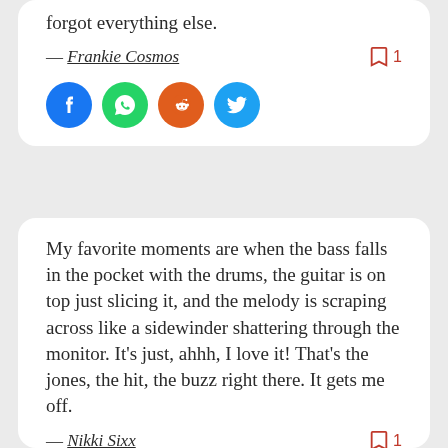forgot everything else.
— Frankie Cosmos
[Figure (other): Social share icons: Facebook, WhatsApp, Reddit, Twitter]
My favorite moments are when the bass falls in the pocket with the drums, the guitar is on top just slicing it, and the melody is scraping across like a sidewinder shattering through the monitor. It's just, ahhh, I love it! That's the jones, the hit, the buzz right there. It gets me off.
— Nikki Sixx